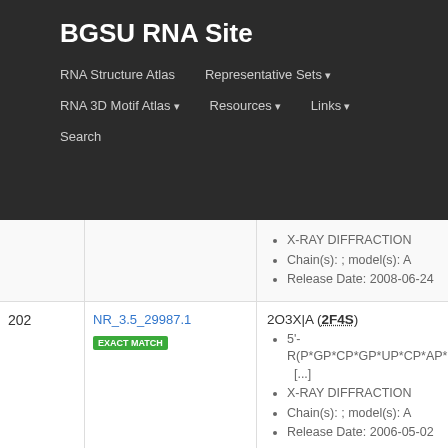BGSU RNA Site
RNA Structure Atlas | Representative Sets ▾ | RNA 3D Motif Atlas ▾ | Resources ▾ | Links ▾ | Search
X-RAY DIFFRACTION
Chain(s): ; model(s): A
Release Date: 2008-06-24
202 NR_3.5_29987.1 EXACT MATCH
2O3X|A (2F4S)
5'-R(P*GP*CP*GP*UP*CP*AP*CP*AP*CP* [...]
X-RAY DIFFRACTION
Chain(s): ; model(s): A
Release Date: 2006-05-02
203 NR_3.5_37623.1 EXACT MATCH
2ZI0|C (2ZI0)
RNA (5'- D(P*AP*GP*AP*CP*AP*GP*CP*AP*UP*U[...
X-RAY DIFFRACTION